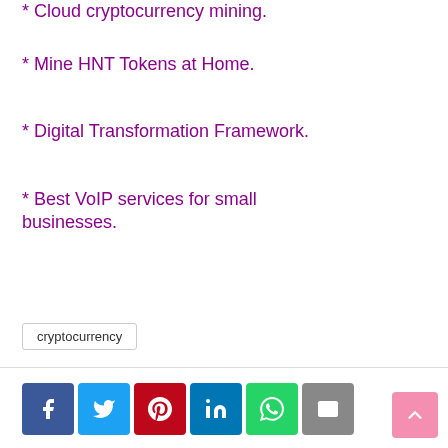* Cloud cryptocurrency mining.
* Mine HNT Tokens at Home.
* Digital Transformation Framework.
* Best VoIP services for small businesses.
cryptocurrency
[Figure (other): Social sharing buttons: Facebook, Twitter, Pinterest, LinkedIn, WhatsApp, Email, and a scroll-to-top button]